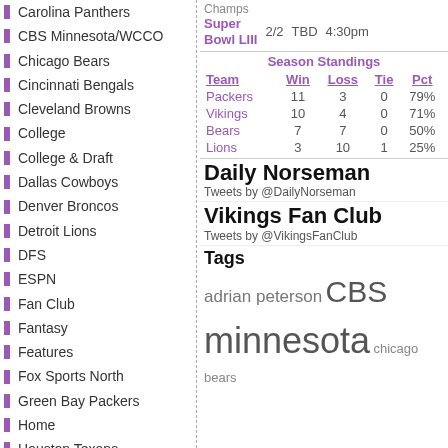Carolina Panthers
CBS Minnesota/WCCO
Chicago Bears
Cincinnati Bengals
Cleveland Browns
College
College & Draft
Dallas Cowboys
Denver Broncos
Detroit Lions
DFS
ESPN
Fan Club
Fantasy
Features
Fox Sports North
Green Bay Packers
Home
Houston Texans
Indianapolis Colts
injury
Jacksonville Jaguars
Kansas City Chiefs
Champs Super Bowl LIII  2/2  TBD  4:30pm
Season Standings
| Team | Win | Loss | Tie | Pct |
| --- | --- | --- | --- | --- |
| Packers | 11 | 3 | 0 | 79% |
| Vikings | 10 | 4 | 0 | 71% |
| Bears | 7 | 7 | 0 | 50% |
| Lions | 3 | 10 | 1 | 25% |
Daily Norseman
Tweets by @DailyNorseman
Vikings Fan Club
Tweets by @VikingsFanClub
Tags
adrian peterson  CBS  minnesota  chicago bears